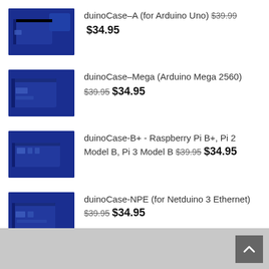duinoCase–A (for Arduino Uno) $39.99 $34.95
duinoCase–Mega (Arduino Mega 2560) $39.95 $34.95
duinoCase-B+ - Raspberry Pi B+, Pi 2 Model B, Pi 3 Model B $39.95 $34.95
duinoCase-NPE (for Netduino 3 Ethernet) $39.95 $34.95